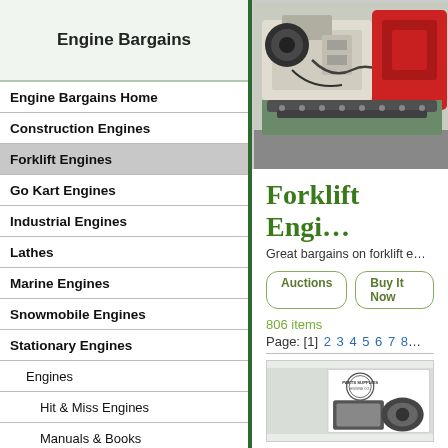Engine Bargains
Engine Bargains Home
Construction Engines
Forklift Engines
Go Kart Engines
Industrial Engines
Lathes
Marine Engines
Snowmobile Engines
Stationary Engines
Engines
Hit & Miss Engines
Manuals & Books
Other Engine Items
Parts
[Figure (photo): Photo of forklift engines]
Forklift Engi...
Great bargains on forklift e...
Auctions   Buy It Now
806 items
Page: [1] 2 3 4 5 6 7 8...
[Figure (photo): Product preview image with Parts Supplies logo]